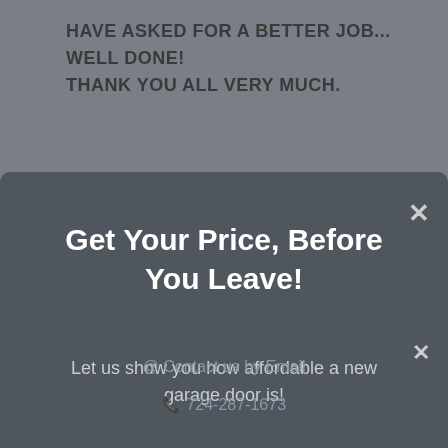HAVE ASKED FOR A BETTER JOB... WELL DONE! THANK YOU ALL VERY MUCH.
Get Your Price, Before You Leave!
Let us show you how affordable a new garage door is!
Get a Price!
@ Contact us by Email
724-287-1673